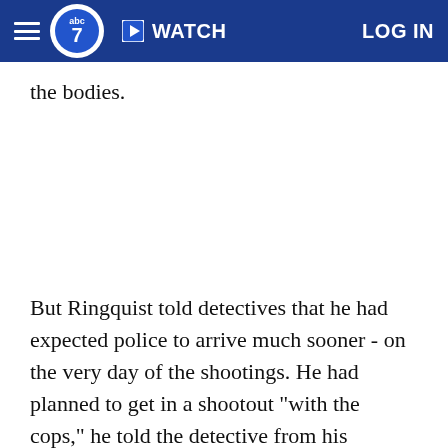ABC7 Navigation — WATCH | LOG IN
the bodies.
But Ringquist told detectives that he had expected police to arrive much sooner - on the very day of the shootings. He had planned to get in a shootout "with the cops," he told the detective from his hospital bed,